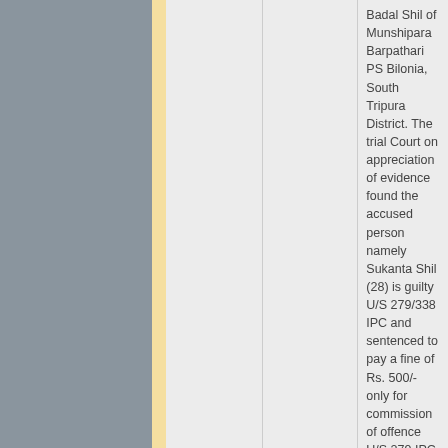| Type | Category | Details |
| --- | --- | --- |
|  |  | Badal Shil of Munshipara Barpathari PS Bilonia, South Tripura District. The trial Court on appreciation of evidence found the accused person namely Sukanta Shil (28) is guilty U/S 279/338 IPC and sentenced to pay a fine of Rs. 500/- only for commission of offence U/S 279 IPC & to pay a fine of Rs. 500/- only for commission of offence U/S 338 IPC. |
| Conviction | Convicted Persons | On 30-11-2017, The Ld. J.M 1st Class Court No. 03 Udaipur, Gomati District, has convicted 01 (One) accused person namely Sri Abdul Kader Miah (35) S/o Rajak Miah of Rani PS Kakraban under Gomati District. On 13-02-2016, Kakraban PS Case No. 2016KKB011 U/S 498(A)/34 IPC was registered on the basis of written complaint of the complainant against the accused persons namely (1) Sri Abdul Kader Miah (35) S/o Rajak Miah (2) Rajak Miah S/O Lt. Gafur Miah (3) Smt. Saru Bibi W/O Md Rajak Miah |